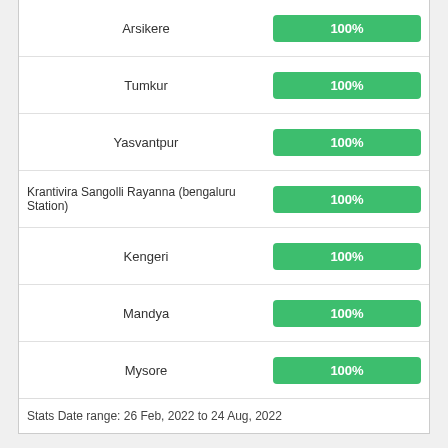| Station | Percentage |
| --- | --- |
| Arsikere | 100% |
| Tumkur | 100% |
| Yasvantpur | 100% |
| Krantivira Sangolli Rayanna (bengaluru Station) | 100% |
| Kengeri | 100% |
| Mandya | 100% |
| Mysore | 100% |
Stats Date range: 26 Feb, 2022 to 24 Aug, 2022
[Figure (infographic): Dark blue bottom bar with teal circle badge showing 2/5, bar chart icon and 70 text, and reCAPTCHA widget]